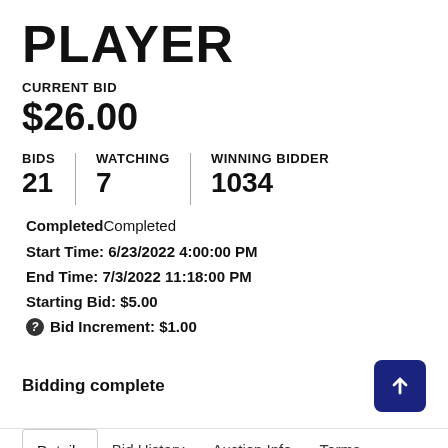PLAYER
CURRENT BID
$26.00
BIDS 21 | WATCHING 7 | WINNING BIDDER 1034
CompletedCompleted
Start Time: 6/23/2022 4:00:00 PM
End Time: 7/3/2022 11:18:00 PM
Starting Bid: $5.00
Bid Increment: $1.00
Bidding complete
Details | Bid History | Auction Info | Terms